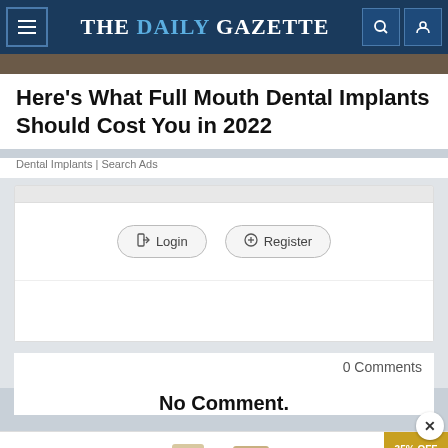THE DAILY GAZETTE
Here's What Full Mouth Dental Implants Should Cost You in 2022
Dental Implants | Search Ads
[Figure (screenshot): Login and Register buttons on a comment form with gray background]
0 Comments
No Comment.
[Figure (infographic): Advertisement banner: The perfect gift, 35% OFF + FREE SHIPPING]